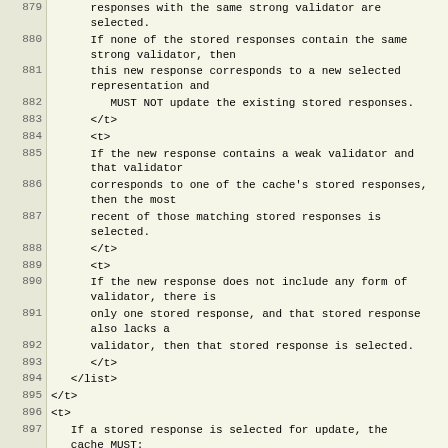| line | code |
| --- | --- |
| 879 |       responses with the same strong validator are
      selected. |
| 880 |       If none of the stored responses contain the same
      strong validator, then |
| 881 |       this new response corresponds to a new selected
      representation and |
| 882 |          MUST NOT update the existing stored responses. |
| 883 |       </t> |
| 884 |       <t> |
| 885 |       If the new response contains a weak validator and
      that validator |
| 886 |       corresponds to one of the cache's stored responses,
      then the most |
| 887 |       recent of those matching stored responses is
      selected. |
| 888 |       </t> |
| 889 |       <t> |
| 890 |       If the new response does not include any form of
      validator, there is |
| 891 |       only one stored response, and that stored response
      also lacks a |
| 892 |       validator, then that stored response is selected. |
| 893 |       </t> |
| 894 |    </list> |
| 895 | </t> |
| 896 | <t> |
| 897 |    If a stored response is selected for update, the
   cache MUST: |
| 898 |    <list style="symbols"> |
| 899 |       <t>delete any <xref target="header.warning"
      format="none">Warning</xref> header fields in the stored
      response |
| 900 |             with warn-code 1xx (see <xref
      target="header.warning"/>);</t> |